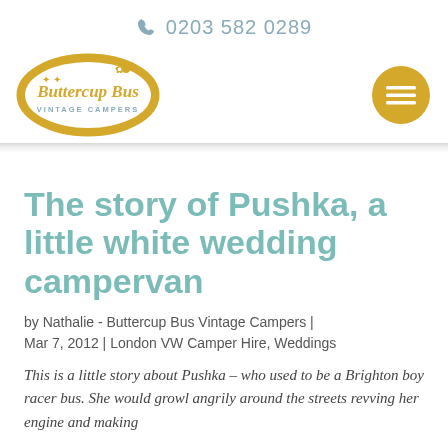0203 582 0289
[Figure (logo): Buttercup Bus Vintage Campers logo — oval yellow badge with text]
[Figure (illustration): Hamburger menu button — gold circle with three white horizontal lines]
The story of Pushka, a little white wedding campervan
by Nathalie - Buttercup Bus Vintage Campers | Mar 7, 2012 | London VW Camper Hire, Weddings
This is a little story about Pushka – who used to be a Brighton boy racer bus. She would growl angrily around the streets revving her engine and making